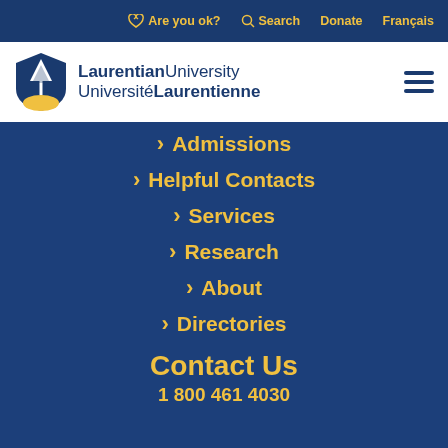Are you ok?  Search  Donate  Français
[Figure (logo): Laurentian University / Université Laurentienne shield logo with tree and gold base, and text 'LaurentianUniversity UniversitéLaurentienne']
> Admissions
> Helpful Contacts
> Services
> Research
> About
> Directories
Contact Us
1 800 461 4030